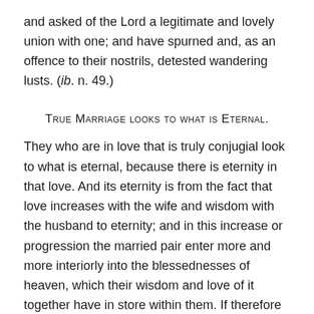and asked of the Lord a legitimate and lovely union with one; and have spurned and, as an offence to their nostrils, detested wandering lusts. (ib. n. 49.)
True Marriage looks to what is Eternal.
They who are in love that is truly conjugial look to what is eternal, because there is eternity in that love. And its eternity is from the fact that love increases with the wife and wisdom with the husband to eternity; and in this increase or progression the married pair enter more and more interiorly into the blessednesses of heaven, which their wisdom and love of it together have in store within them. If therefore the idea of what is eternal were eradicated, or should by any event escape from their minds, it would be as if they were cast down from heaven.